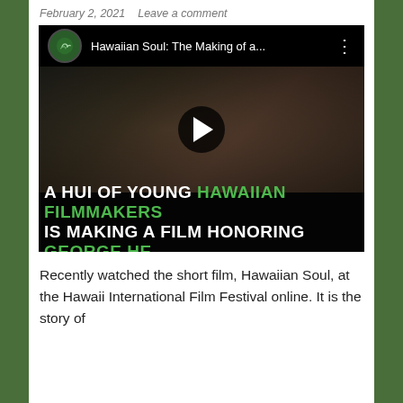February 2, 2021   Leave a comment
[Figure (screenshot): YouTube video thumbnail for 'Hawaiian Soul: The Making of a...' showing a musician playing guitar under string lights with a film camera visible. Subtitle banner reads: 'A HUI OF YOUNG HAWAIIAN FILMMAKERS IS MAKING A FILM HONORING GEORGE HE' with green highlighted text.]
Recently watched the short film, Hawaiian Soul, at the Hawaii International Film Festival online. It is the story of